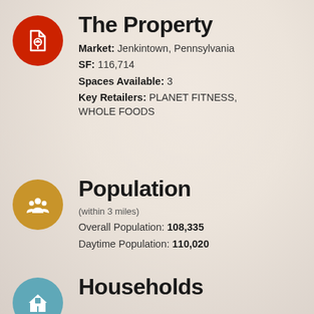The Property
Market: Jenkintown, Pennsylvania
SF: 116,714
Spaces Available: 3
Key Retailers: PLANET FITNESS, WHOLE FOODS
Population
(within 3 miles)
Overall Population: 108,335
Daytime Population: 110,020
Households